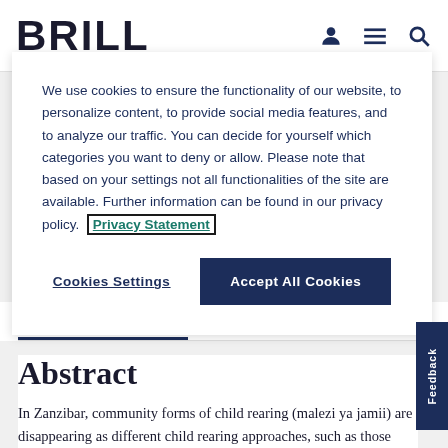BRILL
We use cookies to ensure the functionality of our website, to personalize content, to provide social media features, and to analyze our traffic. You can decide for yourself which categories you want to deny or allow. Please note that based on your settings not all functionalities of the site are available. Further information can be found in our privacy policy. Privacy Statement
Cookies Settings
Accept All Cookies
Abstract/Excerpt
Abstract
In Zanzibar, community forms of child rearing (malezi ya jamii) are disappearing as different child rearing approaches, such as those modelled in